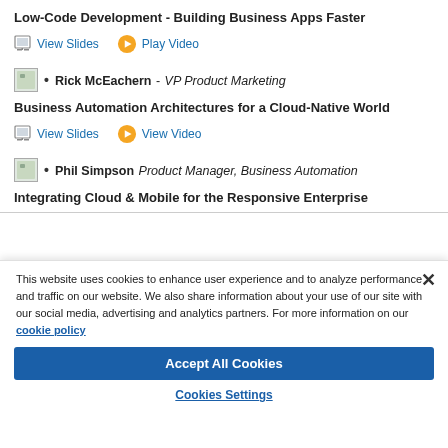Low-Code Development - Building Business Apps Faster
View Slides   Play Video
Rick McEachern - VP Product Marketing
Business Automation Architectures for a Cloud-Native World
View Slides   View Video
Phil Simpson Product Manager, Business Automation
Integrating Cloud & Mobile for the Responsive Enterprise
This website uses cookies to enhance user experience and to analyze performance and traffic on our website. We also share information about your use of our site with our social media, advertising and analytics partners. For more information on our cookie policy
Accept All Cookies
Cookies Settings